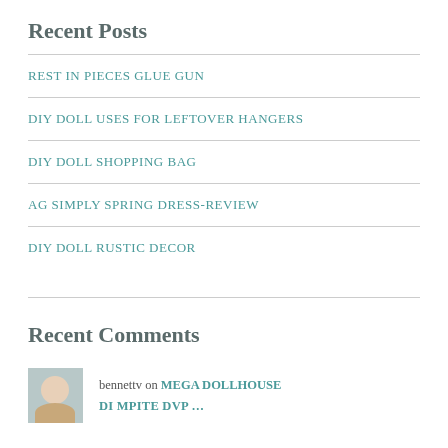Recent Posts
REST IN PIECES GLUE GUN
DIY DOLL USES FOR LEFTOVER HANGERS
DIY DOLL SHOPPING BAG
AG SIMPLY SPRING DRESS-REVIEW
DIY DOLL RUSTIC DECOR
Recent Comments
bennettv on MEGA DOLLHOUSE